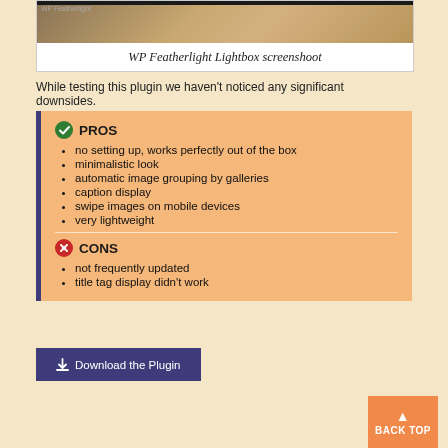[Figure (screenshot): Screenshot of WP Featherlight Lightbox plugin showing a lightbox with a wooden furniture/chair image on dark background]
WP Featherlight Lightbox screenshoot
While testing this plugin we haven't noticed any significant downsides.
PROS
no setting up, works perfectly out of the box
minimalistic look
automatic image grouping by galleries
caption display
swipe images on mobile devices
very lightweight
CONS
not frequently updated
title tag display didn't work
Download the Plugin
BACK TOP